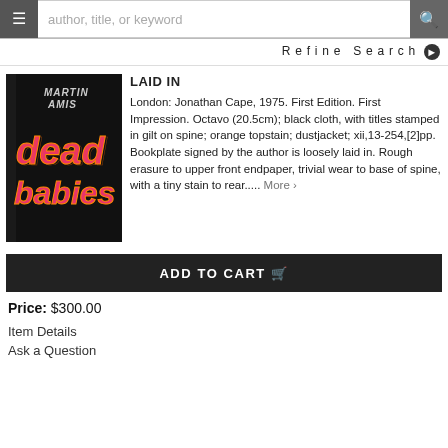author, title, or keyword
Refine Search
[Figure (photo): Book cover of 'Dead Babies' by Martin Amis, black cover with pink/orange lettering]
LAID IN
London: Jonathan Cape, 1975. First Edition. First Impression. Octavo (20.5cm); black cloth, with titles stamped in gilt on spine; orange topstain; dustjacket; xii,13-254,[2]pp. Bookplate signed by the author is loosely laid in. Rough erasure to upper front endpaper, trivial wear to base of spine, with a tiny stain to rear..... More >
ADD TO CART
Price: $300.00
Item Details
Ask a Question